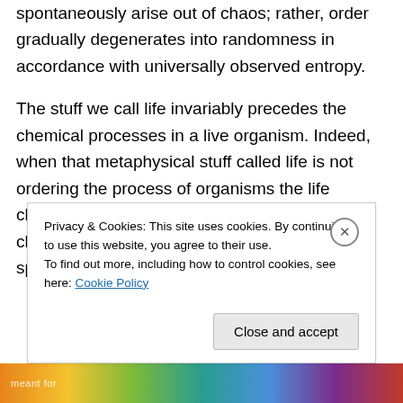spontaneously arise out of chaos; rather, order gradually degenerates into randomness in accordance with universally observed entropy.
The stuff we call life invariably precedes the chemical processes in a live organism. Indeed, when that metaphysical stuff called life is not ordering the process of organisms the life chemistry fails and the beast is “dead” and the chemistry of a dead thing does not spontaneously turn itself into a “live” thing.
Privacy & Cookies: This site uses cookies. By continuing to use this website, you agree to their use.
To find out more, including how to control cookies, see here: Cookie Policy